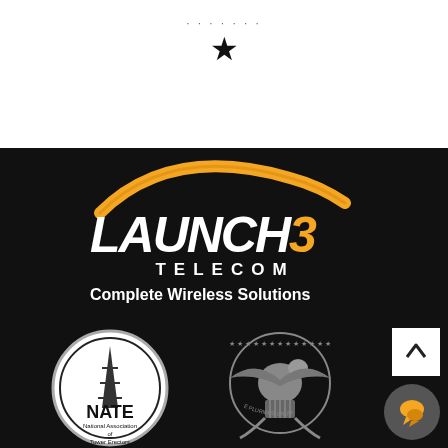[Figure (other): Star rating indicator with 5 small dots above and one large black star below, on white background]
[Figure (logo): Launch 3 Telecom logo on black background - orange arc above, LAUNCH in white bold italic, 3 in orange italic, TELECOM in white spaced capitals, tagline Complete Wireless Solutions in white bold]
[Figure (logo): NATE - National Association of Tower Erectors circular badge in black and white]
[Figure (logo): US Government eagle seal in grayscale]
[Figure (other): Orange chat bubble icon button on dark gray circular background]
[Figure (other): White square scroll-to-top button with upward chevron]